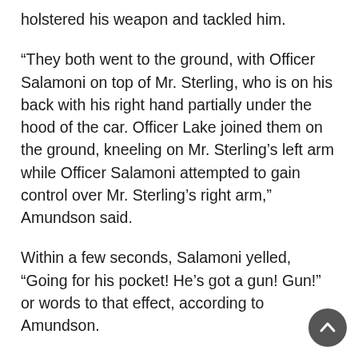holstered his weapon and tackled him.
“They both went to the ground, with Officer Salamoni on top of Mr. Sterling, who is on his back with his right hand partially under the hood of the car. Officer Lake joined them on the ground, kneeling on Mr. Sterling’s left arm while Officer Salamoni attempted to gain control over Mr. Sterling’s right arm,” Amundson said.
Within a few seconds, Salamoni yelled, “Going for his pocket! He’s got a gun! Gun!” or words to that effect, according to Amundson.
Lake drew his weapon and yelled at Sterling not to move, Amundson said. Less than one second later, he added, Salamoni again yelled that Sterling was “going for a gun” and then fired three shots into Sterling’s chest.